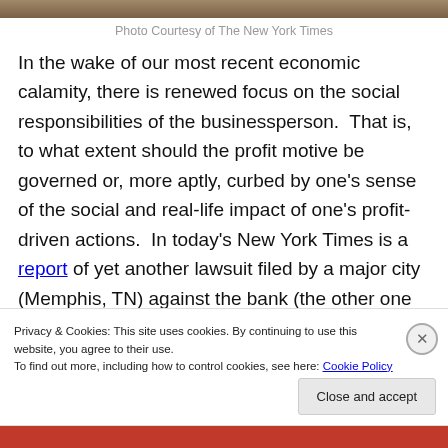[Figure (photo): Partial top strip of a photo, cropped at top of page]
Photo Courtesy of The New York Times
In the wake of our most recent economic calamity, there is renewed focus on the social responsibilities of the businessperson.  That is, to what extent should the profit motive be governed or, more aptly, curbed by one's sense of the social and real-life impact of one's profit-driven actions.  In today's New York Times is a report of yet another lawsuit filed by a major city (Memphis, TN) against the bank (the other one being Baltimore; story here), Wells
Privacy & Cookies: This site uses cookies. By continuing to use this website, you agree to their use.
To find out more, including how to control cookies, see here: Cookie Policy
Close and accept